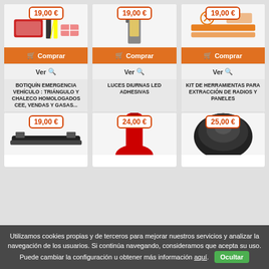[Figure (photo): Product image: emergency kit with triangles, vest, bandages]
19,00 €
Comprar
Ver
BOTIQUÍN EMERGENCIA VEHÍCULO : TRIÁNGULO Y CHALECO HOMOLOGADOS CEE, VENDAS Y GASAS...
[Figure (photo): Product image: LED daytime running lights adhesive strip]
19,00 €
Comprar
Ver
LUCES DIURNAS LED ADHESIVAS
[Figure (photo): Product image: tool kit for radio and panel extraction]
19,00 €
Comprar
Ver
KIT DE HERRAMIENTAS PARA EXTRACCIÓN DE RADIOS Y PANELES
[Figure (photo): Product image: black tool or accessory]
19,00 €
[Figure (photo): Product image: red fire extinguisher]
24,00 €
[Figure (photo): Product image: black speaker or round device]
25,00 €
Utilizamos cookies propias y de terceros para mejorar nuestros servicios y analizar la navegación de los usuarios. Si continúa navegando, consideramos que acepta su uso. Puede cambiar la configuración u obtener más información aquí. Ocultar